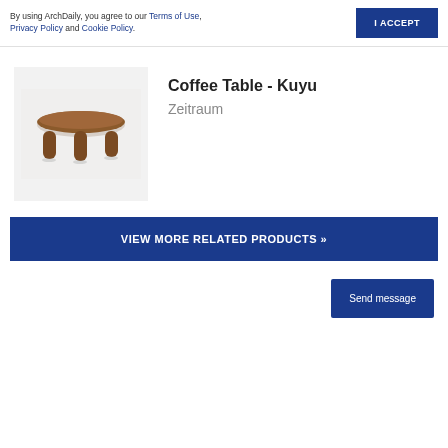By using ArchDaily, you agree to our Terms of Use, Privacy Policy and Cookie Policy.
I ACCEPT
[Figure (photo): Coffee table product photo on light grey background, wooden oval top with three cylindrical legs]
Coffee Table - Kuyu
Zeitraum
VIEW MORE RELATED PRODUCTS »
Send message